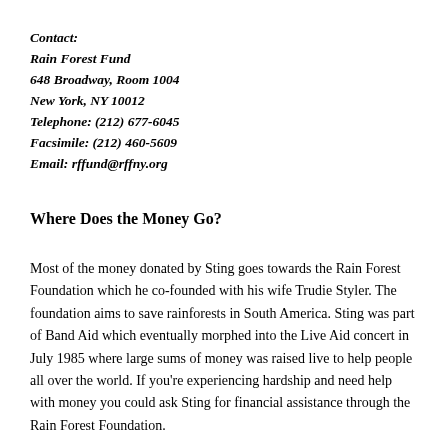Contact:
Rain Forest Fund
648 Broadway, Room 1004
New York, NY 10012
Telephone: (212) 677-6045
Facsimile: (212) 460-5609
Email: rffund@rffny.org
Where Does the Money Go?
Most of the money donated by Sting goes towards the Rain Forest Foundation which he co-founded with his wife Trudie Styler. The foundation aims to save rainforests in South America. Sting was part of Band Aid which eventually morphed into the Live Aid concert in July 1985 where large sums of money was raised live to help people all over the world. If you're experiencing hardship and need help with money you could ask Sting for financial assistance through the Rain Forest Foundation.